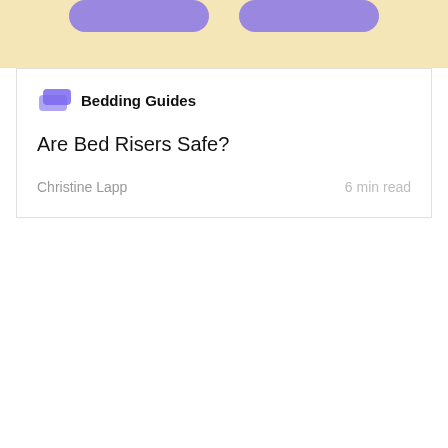[Figure (illustration): Top banner with light yellow/cream background showing two purple pill-shaped buttons partially visible at the top]
Bedding Guides
Are Bed Risers Safe?
Christine Lapp   6 min read